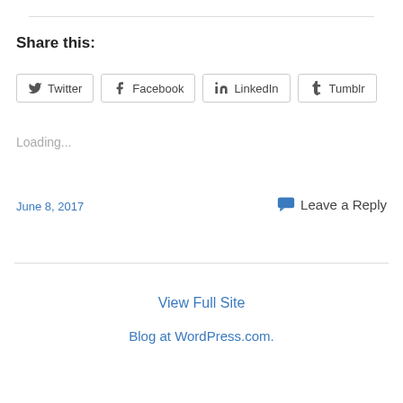Share this:
[Figure (other): Social share buttons for Twitter, Facebook, LinkedIn, and Tumblr]
Loading...
June 8, 2017
💬 Leave a Reply
View Full Site
Blog at WordPress.com.